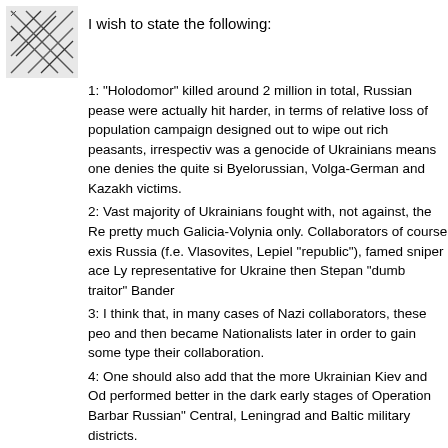[Figure (illustration): Small avatar image with a dark geometric/crosshatch pattern on a light background]
I wish to state the following:
1: "Holodomor" killed around 2 million in total, Russian pease were actually hit harder, in terms of relative loss of population campaign designed out to wipe out rich peasants, irrespectiv was a genocide of Ukrainians means one denies the quite si Byelorussian, Volga-German and Kazakh victims.
2: Vast majority of Ukrainians fought with, not against, the Re pretty much Galicia-Volynia only. Collaborators of course exis Russia (f.e. Vlasovites, Lepiel "republic"), famed sniper ace Ly representative for Ukraine then Stepan "dumb traitor" Bander
3: I think that, in many cases of Nazi collaborators, these peo and then became Nationalists later in order to gain some type their collaboration.
4: One should also add that the more Ukrainian Kiev and Od performed better in the dark early stages of Operation Barbar Russian" Central, Leningrad and Baltic military districts.
Concerning current situation is roughly as follows:
"Pro Western Oligarchs" and outright Nazis are the 2 major p clique rode the Nazi tiger into the Rada, and cannot exactly g least bitten. They also regard the Nazis as a good bet agains